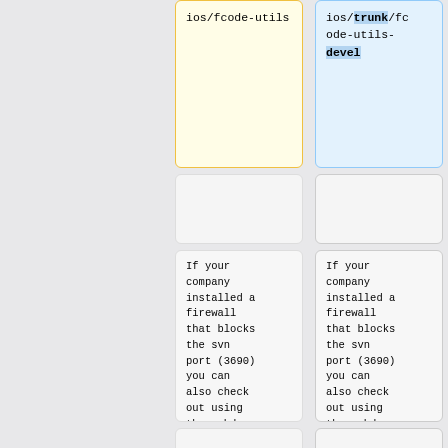ios/fcode-utils
ios/trunk/fcode-utils-devel
(empty cell)
(empty cell)
If your company installed a firewall that blocks the svn port (3690) you can also check out using the webdav frontend:
If your company installed a firewall that blocks the svn port (3690) you can also check out using the webdav frontend:
(empty cell)
(empty cell)
$ svn co <nowiki>http
$ svn co <nowiki>http